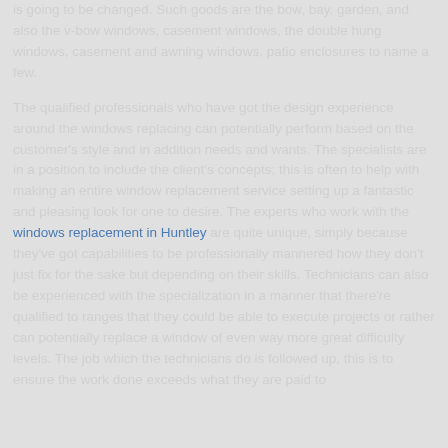is going to be changed. Such goods are the bow, bay, garden, and also the v-bow windows, casement windows, the double hung windows, casement and awning windows, patio enclosures to name a few.
The qualified professionals who have got the design experience around the windows replacing can potentially perform based on the customer's style and in addition needs and wants. The specialists are in a position to include the client's concepts; this is often to help with making an entire window replacement service setting up a fantastic and pleasing look for one to desire. The experts who work with the windows replacement in Huntley are quite unique, simply because they've got capabilities to be professionally mannered how they don't just fix for the sake but depending on their skills. Technicians can also be experienced with the specialization in a manner that there're qualified to ranges that they could be able to execute projects or rather can potentially replace a window of even way more great difficulty levels. The job which the technicians do is followed up, this is to ensure the work done exceeds what they are paid to...